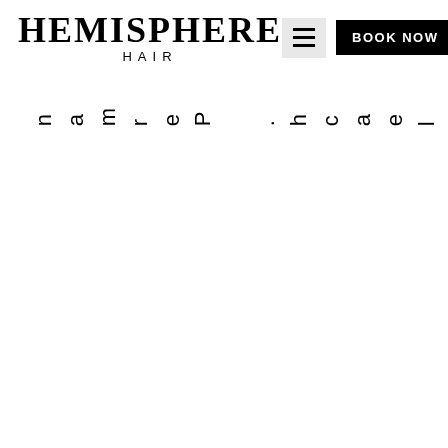HEMISPHERE HAIR — BOOK NOW
s
o
r
b
l
e
a
c
h
.

P
e
r
m
a
n